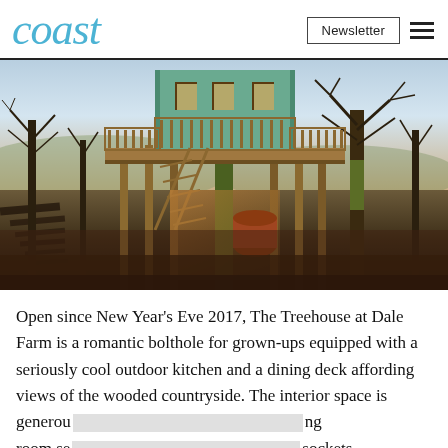coast | Newsletter ☰
[Figure (photo): A treehouse elevated on stilts among bare winter trees, with a wooden deck/balcony, staircase, and warm sunset light on a countryside landscape.]
Open since New Year's Eve 2017, The Treehouse at Dale Farm is a romantic bolthole for grown-ups equipped with a seriously cool outdoor kitchen and a dining deck affording views of the wooded countryside. The interior space is generous [redacted] ng room se[redacted] sockets